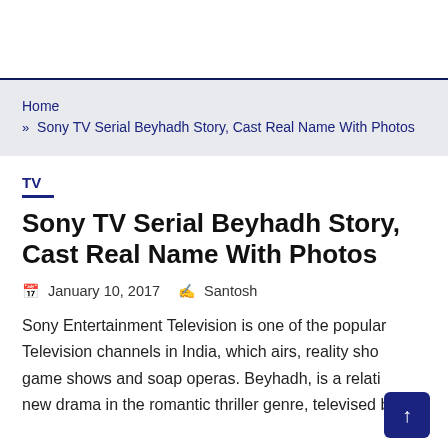Home » Sony TV Serial Beyhadh Story, Cast Real Name With Photos
TV
Sony TV Serial Beyhadh Story, Cast Real Name With Photos
January 10, 2017  Santosh
Sony Entertainment Television is one of the popular Television channels in India, which airs, reality shows, game shows and soap operas. Beyhadh, is a relatively new drama in the romantic thriller genre, televised by